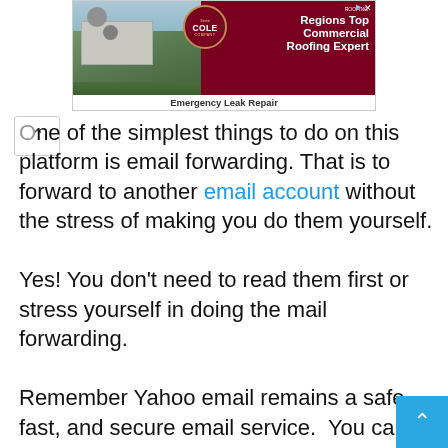[Figure (other): Advertisement banner for Cole Roofing Company featuring an aerial photo of a building, a circular company logo/seal, and dark red background with text 'Regions Top Commercial Roofing Expert' and 'Emergency Leak Repair']
One of the simplest things to do on this platform is email forwarding. That is to forward to another email account without the stress of making you do them yourself.

Yes! You don't need to read them first or stress yourself in doing the mail forwarding.

Remember Yahoo email remains a safe, fast, and secure email service. You can access Yahoo through IMAP or POP and have a great result and can be accessed through another email account/ address as we explain now. For more on How to Forward Yahoo Mail...